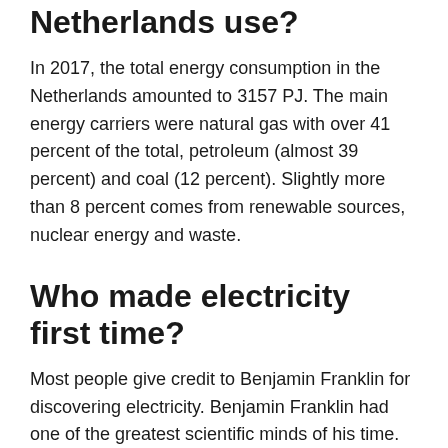Netherlands use?
In 2017, the total energy consumption in the Netherlands amounted to 3157 PJ. The main energy carriers were natural gas with over 41 percent of the total, petroleum (almost 39 percent) and coal (12 percent). Slightly more than 8 percent comes from renewable sources, nuclear energy and waste.
Who made electricity first time?
Most people give credit to Benjamin Franklin for discovering electricity. Benjamin Franklin had one of the greatest scientific minds of his time. He was interested in many areas of science and was a leading inventor and...